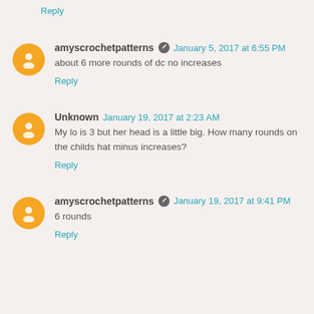Reply
amyscrochetpatterns  January 5, 2017 at 6:55 PM
about 6 more rounds of dc no increases
Reply
Unknown  January 19, 2017 at 2:23 AM
My lo is 3 but her head is a little big. How many rounds on the childs hat minus increases?
Reply
amyscrochetpatterns  January 19, 2017 at 9:41 PM
6 rounds
Reply